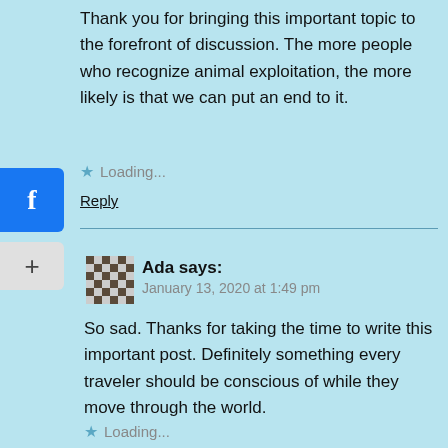Thank you for bringing this important topic to the forefront of discussion. The more people who recognize animal exploitation, the more likely is that we can put an end to it.
Loading...
Reply
Ada says:
January 13, 2020 at 1:49 pm
So sad. Thanks for taking the time to write this important post. Definitely something every traveler should be conscious of while they move through the world.
Loading...